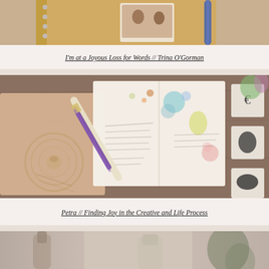[Figure (photo): Top portion of a photo showing a notebook or journal with a photo of two people visible, with a blue pen nearby on a light background. Partial view, cropped at top.]
I'm at a Joyous Loss for Words // Trina O'Gorman
[Figure (photo): A flatlay photo showing an open journal or traveler's notebook with hand-drawn watercolor illustrations (colorful circles, small figures, handwritten text), a fountain pen with purple barrel, a leather notebook cover with embossed seal on the left, rubber stamps, and small art supplies on a wooden table surface.]
Petra // Finding Joy in the Creative and Life Process
[Figure (photo): Partial bottom view of a photo showing blurred items on a light/neutral background, possibly bottles or containers. Cropped at the bottom of the page.]